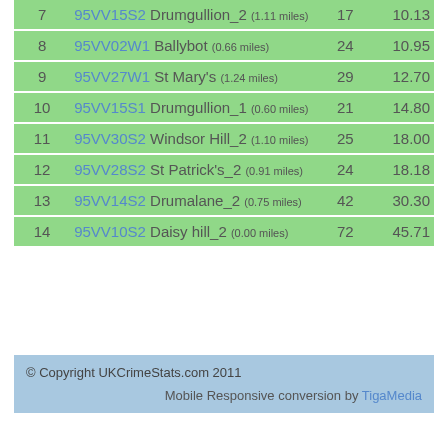| # | Station | Count | Score |
| --- | --- | --- | --- |
| 7 | 95VV15S2 Drumgullion_2 (1.11 miles) | 17 | 10.13 |
| 8 | 95VV02W1 Ballybot (0.66 miles) | 24 | 10.95 |
| 9 | 95VV27W1 St Mary's (1.24 miles) | 29 | 12.70 |
| 10 | 95VV15S1 Drumgullion_1 (0.60 miles) | 21 | 14.80 |
| 11 | 95VV30S2 Windsor Hill_2 (1.10 miles) | 25 | 18.00 |
| 12 | 95VV28S2 St Patrick's_2 (0.91 miles) | 24 | 18.18 |
| 13 | 95VV14S2 Drumalane_2 (0.75 miles) | 42 | 30.30 |
| 14 | 95VV10S2 Daisy hill_2 (0.00 miles) | 72 | 45.71 |
© Copyright UKCrimeStats.com 2011
Mobile Responsive conversion by TigaMedia